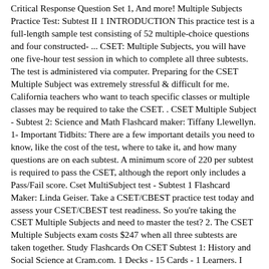Critical Response Question Set 1, And more! Multiple Subjects Practice Test: Subtest II 1 INTRODUCTION This practice test is a full-length sample test consisting of 52 multiple-choice questions and four constructed- ... CSET: Multiple Subjects, you will have one five-hour test session in which to complete all three subtests. The test is administered via computer. Preparing for the CSET Multiple Subject was extremely stressful & difficult for me. California teachers who want to teach specific classes or multiple classes may be required to take the CSET. . CSET Multiple Subject - Subtest 2: Science and Math Flashcard maker: Tiffany Llewellyn. 1- Important Tidbits: There are a few important details you need to know, like the cost of the test, where to take it, and how many questions are on each subtest. A minimum score of 220 per subtest is required to pass the CSET, although the report only includes a Pass/Fail score. Cset MultiSubject test - Subtest 1 Flashcard Maker: Linda Geiser. Take a CSET/CBEST practice test today and assess your CSET/CBEST test readiness. So you're taking the CSET Multiple Subjects and need to master the test? 2. The CSET Multiple Subjects exam costs $247 when all three subtests are taken together. Study Flashcards On CSET Subtest 1: History and Social Science at Cram.com. 1 Decks - 15 Cards - 1 Learners. I attend CSU Fullerton and they require you to take the CSET before entering the SPED credential program. Overview Study Guide. CSET: Multiple Subjects, you will have one five-hour test session in which to complete all three subtests. We know taking the